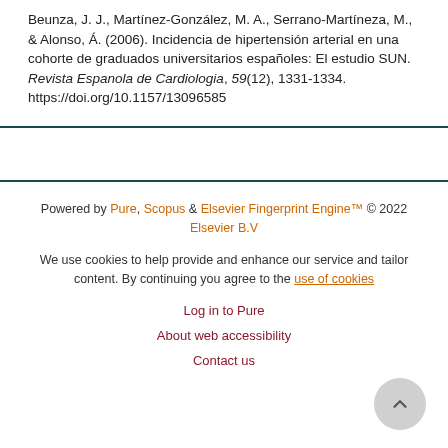Beunza, J. J., Martínez-González, M. A., Serrano-Martíneza, M., & Alonso, Á. (2006). Incidencia de hipertensión arterial en una cohorte de graduados universitarios españoles: El estudio SUN. Revista Espanola de Cardiologia, 59(12), 1331-1334. https://doi.org/10.1157/13096585
Powered by Pure, Scopus & Elsevier Fingerprint Engine™ © 2022 Elsevier B.V
We use cookies to help provide and enhance our service and tailor content. By continuing you agree to the use of cookies
Log in to Pure
About web accessibility
Contact us